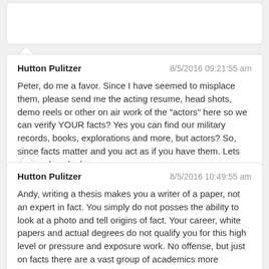Hutton Pulitzer — 8/5/2016 09:21:55 am
Peter, do me a favor. Since I have seemed to misplace them, please send me the acting resume, head shots, demo reels or other on air work of the "actors" here so we can verify YOUR facts? Yes you can find our military records, books, explorations and more, but actors? So, since facts matter and you act as if you have them. Lets take a close look.
Hutton Pulitzer — 8/5/2016 10:49:55 am
Andy, writing a thesis makes you a writer of a paper, not an expert in fact. You simply do not posses the ability to look at a photo and tell origins of fact. Your career, white papers and actual degrees do not qualify you for this high level or pressure and exposure work. No offense, but just on facts there are a vast group of academics more qualified than you in this specific area. Nor, would we qualify someone